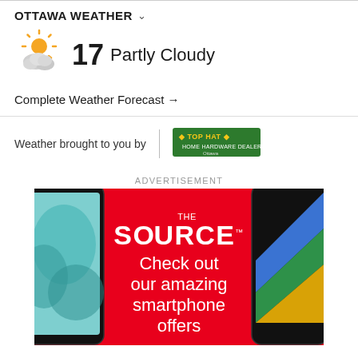OTTAWA WEATHER
17 Partly Cloudy
Complete Weather Forecast →
Weather brought to you by
[Figure (logo): Top Hat logo - green rectangle with TOP HAT text in yellow]
ADVERTISEMENT
[Figure (photo): The Source advertisement showing smartphones on red background with text: THE SOURCE™ Check out our amazing smartphone offers]